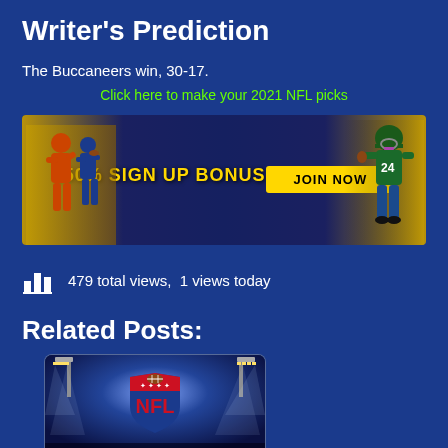Writer's Prediction
The Buccaneers win, 30-17.
Click here to make your 2021 NFL picks
[Figure (photo): Sports betting advertisement banner: '150% SIGN UP BONUS' with 'JOIN NOW' button, featuring NFL players on a stadium background with yellow/gold accents.]
479 total views,  1 views today
Related Posts:
[Figure (photo): Card image for related post: NFL shield logo on stadium background with lights. Text overlay: 'Atlanta Falcons vs Tampa Bay Buccaneers'. Gold bar at bottom with partial text.]